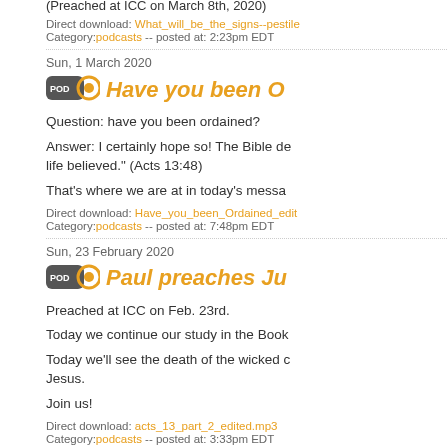(Preached at ICC on March 8th, 2020)
Direct download: What_will_be_the_signs--pestile... Category:podcasts -- posted at: 2:23pm EDT
Sun, 1 March 2020
Have you been O...
Question: have you been ordained?
Answer: I certainly hope so! The Bible de... life believed." (Acts 13:48)
That's where we are at in today's messa...
Direct download: Have_you_been_Ordained_edit... Category:podcasts -- posted at: 7:48pm EDT
Sun, 23 February 2020
Paul preaches Ju...
Preached at ICC on Feb. 23rd.
Today we continue our study in the Book...
Today we'll see the death of the wicked c... Jesus.
Join us!
Direct download: acts_13_part_2_edited.mp3 Category:podcasts -- posted at: 3:33pm EDT
Tue, 18 February 2020
Peter in Jail...